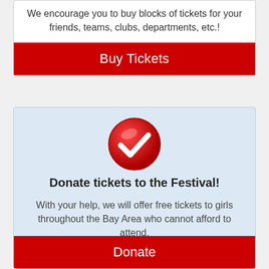We encourage you to buy blocks of tickets for your friends, teams, clubs, departments, etc.!
Buy Tickets
[Figure (illustration): Red glossy circle with a white checkmark inside]
Donate tickets to the Festival!
With your help, we will offer free tickets to girls throughout the Bay Area who cannot afford to attend.
Donate